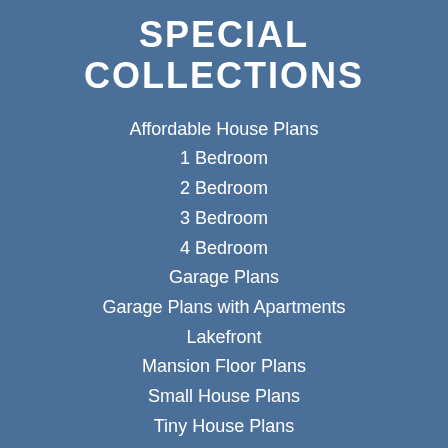SPECIAL COLLECTIONS
Affordable House Plans
1 Bedroom
2 Bedroom
3 Bedroom
4 Bedroom
Garage Plans
Garage Plans with Apartments
Lakefront
Mansion Floor Plans
Small House Plans
Tiny House Plans
FEATURED DESIGNERS